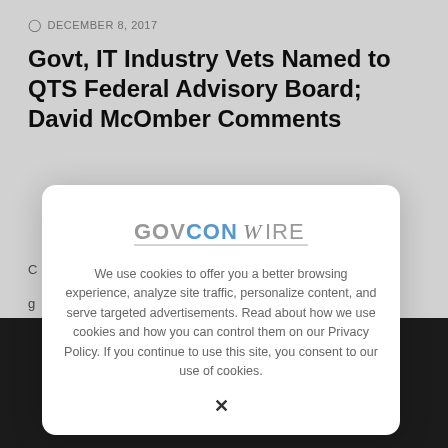DECEMBER 8, 2017
Govt, IT Industry Vets Named to QTS Federal Advisory Board; David McOmber Comments
C
g
e
[Figure (screenshot): Cookie consent modal overlay with GovConWire logo and cookie policy text]
We use cookies to offer you a better browsing experience, analyze site traffic, personalize content, and serve targeted advertisements. Read about how we use cookies and how you can control them on our Privacy Policy. If you continue to use this site, you consent to our use of cookies.
X